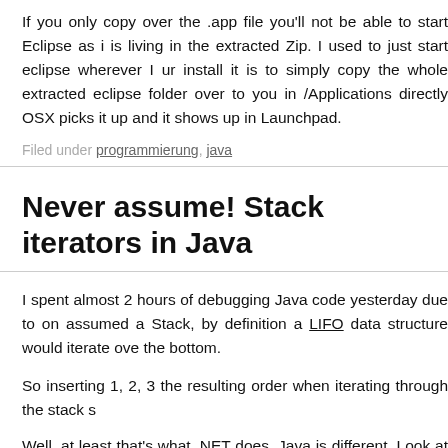If you only copy over the .app file you'll not be able to start Eclipse as it is living in the extracted Zip. I used to just start eclipse wherever I un... install it is to simply copy the whole extracted eclipse folder to you... in /Applications directly OSX picks it up and it shows up in Launchpad.
Filed under programmierung, java
Never assume! Stack iterators in Java
I spent almost 2 hours of debugging Java code yesterday due to on... assumed a Stack, by definition a LIFO data structure would iterate ove... the bottom.
So inserting 1, 2, 3 the resulting order when iterating through the stack s...
Well, at least that's what .NET does. Java is different. Look at the follow...